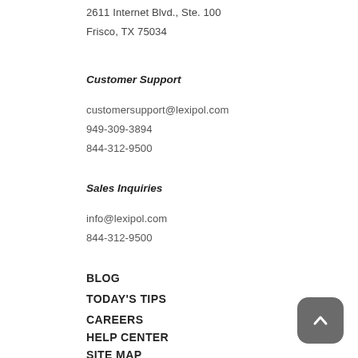2611 Internet Blvd., Ste. 100
Frisco, TX 75034
Customer Support
customersupport@lexipol.com
949-309-3894
844-312-9500
Sales Inquiries
info@lexipol.com
844-312-9500
BLOG
TODAY'S TIPS
CAREERS
HELP CENTER
SITE MAP